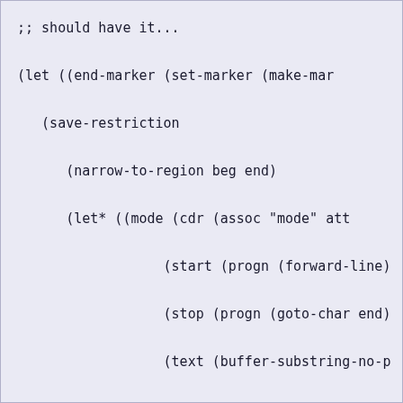;; should have it...

(let ((end-marker (set-marker (make-mar

   (save-restriction

      (narrow-to-region beg end)

      (let* ((mode (cdr (assoc "mode" att

                  (start (progn (forward-line)

                  (stop (progn (goto-char end)

                  (text (buffer-substring-no-p

                  (buffer (current-buffer)))